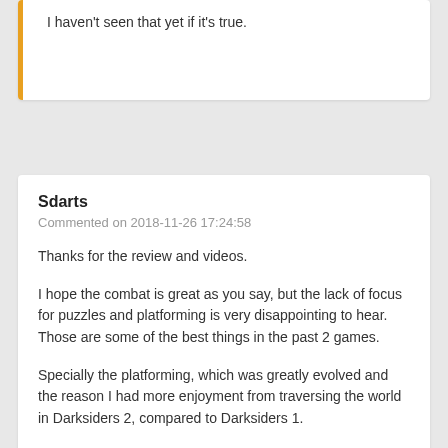I haven't seen that yet if it's true.
Sdarts
Commented on 2018-11-26 17:24:58
Thanks for the review and videos.
I hope the combat is great as you say, but the lack of focus for puzzles and platforming is very disappointing to hear. Those are some of the best things in the past 2 games.
Specially the platforming, which was greatly evolved and the reason I had more enjoyment from traversing the world in Darksiders 2, compared to Darksiders 1.
Focusing it more on combat can get tiring after a few hours, unless the combat really nails it and is just pure fun, something that you will be wanting to do as much as possible. The